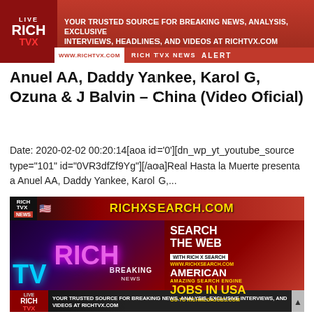[Figure (screenshot): RichTVX News banner with logo, tagline and alert bar at the top]
Anuel AA, Daddy Yankee, Karol G, Ozuna & J Balvin – China (Video Oficial)
Date: 2020-02-02 00:20:14[aoa id='0'][dn_wp_yt_youtube_source type="101" id="0VR3dfZf9Yg"][/aoa]Real Hasta la Muerte presenta a Anuel AA, Daddy Yankee, Karol G,...
[Figure (screenshot): RichXSearch.com advertisement banner featuring Rich TVX logo, breaking news banner, and text: SEARCH THE WEB WITH RICH X SEARCH, AMERICAN JOBS IN USA]